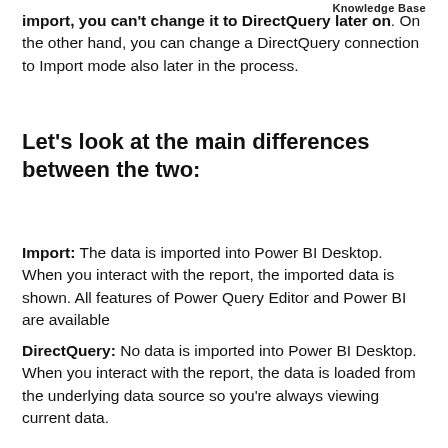Knowledge Base
import, you can't change it to DirectQuery later on. On the other hand, you can change a DirectQuery connection to Import mode also later in the process.
Let's look at the main differences between the two:
Import: The data is imported into Power BI Desktop. When you interact with the report, the imported data is shown. All features of Power Query Editor and Power BI are available
DirectQuery: No data is imported into Power BI Desktop. When you interact with the report, the data is loaded from the underlying data source so you're always viewing current data.